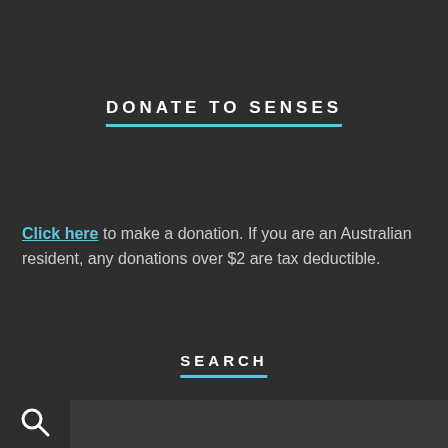DONATE TO SENSES
Click here to make a donation. If you are an Australian resident, any donations over $2 are tax deductible.
SEARCH